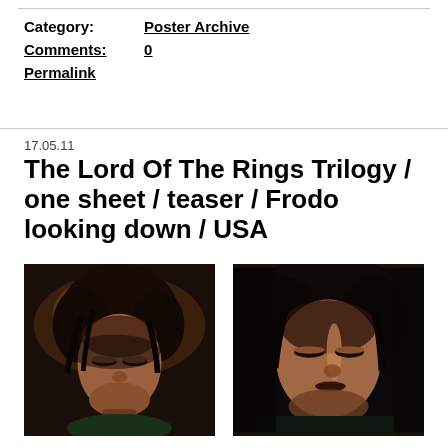Category: Poster Archive
Comments: 0
Permalink
17.05.11
The Lord Of The Rings Trilogy / one sheet / teaser / Frodo looking down / USA
[Figure (photo): Movie poster image of Frodo looking down, dark moody lighting, full face visible]
[Figure (photo): Closer crop of Frodo looking down, dark background, face detail]